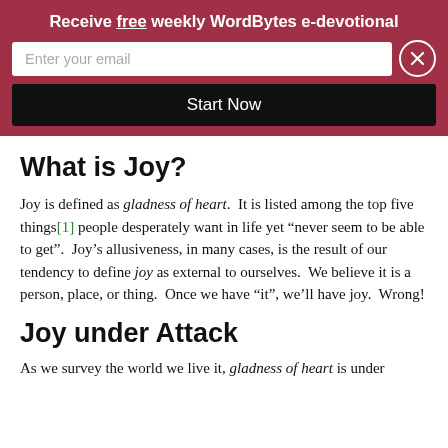Receive free weekly WordBytes e-devotional
Enter your email
Start Now
What is Joy?
Joy is defined as gladness of heart.  It is listed among the top five things[1] people desperately want in life yet “never seem to be able to get”.  Joy’s allusiveness, in many cases, is the result of our tendency to define joy as external to ourselves.  We believe it is a person, place, or thing.  Once we have “it”, we’ll have joy.  Wrong!
Joy under Attack
As we survey the world we live it, gladness of heart is under